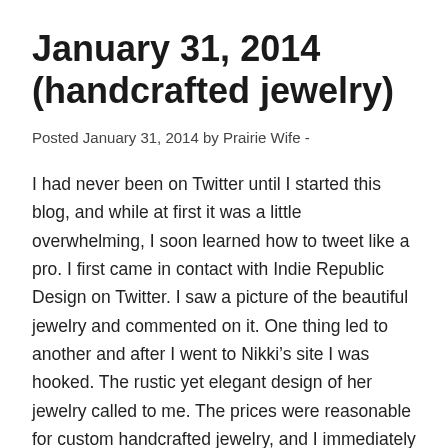January 31, 2014 (handcrafted jewelry)
Posted January 31, 2014 by Prairie Wife -
I had never been on Twitter until I started this blog, and while at first it was a little overwhelming, I soon learned how to tweet like a pro. I first came in contact with Indie Republic Design on Twitter. I saw a picture of the beautiful jewelry and commented on it. One thing led to another and after I went to Nikki’s site I was hooked. The rustic yet elegant design of her jewelry called to me. The prices were reasonable for custom handcrafted jewelry, and I immediately thought of my readers. I contacted Nikki about